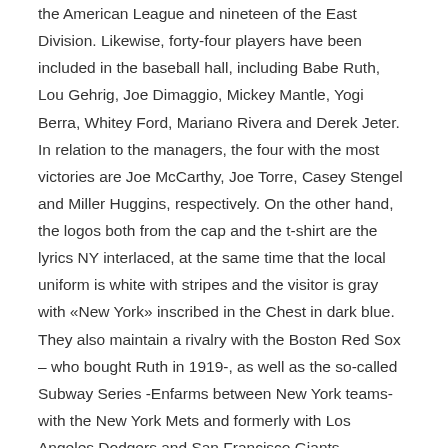the American League and nineteen of the East Division. Likewise, forty-four players have been included in the baseball hall, including Babe Ruth, Lou Gehrig, Joe Dimaggio, Mickey Mantle, Yogi Berra, Whitey Ford, Mariano Rivera and Derek Jeter. In relation to the managers, the four with the most victories are Joe McCarthy, Joe Torre, Casey Stengel and Miller Huggins, respectively. On the other hand, the logos both from the cap and the t-shirt are the lyrics NY interlaced, at the same time that the local uniform is white with stripes and the visitor is gray with «New York» inscribed in the Chest in dark blue.
They also maintain a rivalry with the Boston Red Sox – who bought Ruth in 1919-, as well as the so-called Subway Series -Enfarms between New York teams- with the New York Mets and formerly with Los Angeles Dodgers and San Francisco Giants.